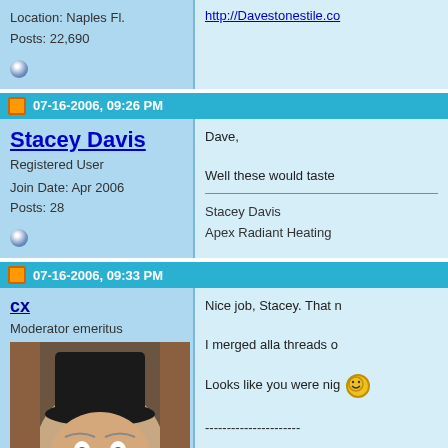Location: Naples Fl.
Posts: 22,690
http://Davestonestile.co
07-16-2006, 09:26 PM
Stacey Davis
Registered User
Join Date: Apr 2006
Posts: 28
Dave,

Well these would taste

__________
Stacey Davis
Apex Radiant Heating
07-16-2006, 09:33 PM
cx
Moderator emeritus
Join Date: Jul 2001
Location: Boerne, Texas
Nice job, Stacey. That n

I merged alla threads o

Looks like you were nig

----------------------

Moderator Edit: Fixed b